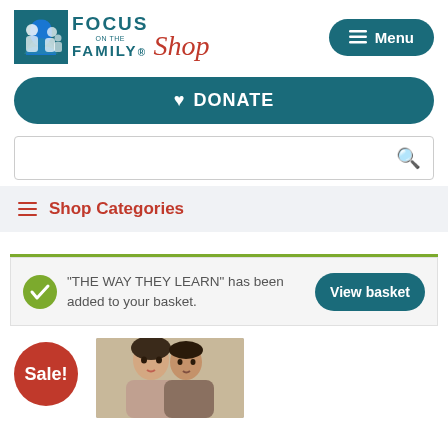[Figure (logo): Focus on the Family Shop logo with teal branding and red italic Shop text]
Menu
♥ DONATE
Search box
Shop Categories
"THE WAY THEY LEARN" has been added to your basket.
View basket
Sale!
[Figure (photo): Couple photo showing a man and woman close together]